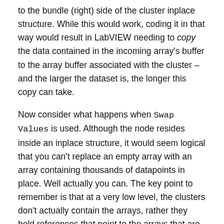to the bundle (right) side of the cluster inplace structure. While this would work, coding it in that way would result in LabVIEW needing to copy the data contained in the incoming array's buffer to the array buffer associated with the cluster – and the larger the dataset is, the longer this copy can take.
Now consider what happens when Swap Values is used. Although the node resides inside an inplace structure, it would seem logical that you can't replace an empty array with an array containing thousands of datapoints in place. Well actually you can. The key point to remember is that at a very low level, the clusters don't actually contain the arrays, rather they hold references that point to the arrays that are associated with them. So what Swap Values does is it leaves the two arrays in place and simply swaps the references that the clusters contain. Thanks to this optimization, populating this cluster with data will take the exact same amount of time whether the input data contains 2 datapoints or 200,000 datapoints because the only thing that is really being moved is a pair of 4-byte memory